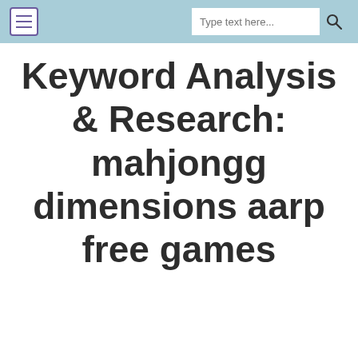Keyword Analysis & Research: mahjongg dimensions aarp free games